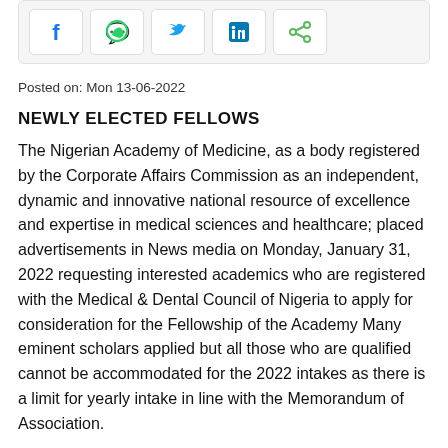[Figure (other): Social media sharing buttons: Facebook, WhatsApp, Twitter, LinkedIn, Share]
Posted on: Mon 13-06-2022
NEWLY ELECTED FELLOWS
The Nigerian Academy of Medicine, as a body registered by the Corporate Affairs Commission as an independent, dynamic and innovative national resource of excellence and expertise in medical sciences and healthcare; placed advertisements in News media on Monday, January 31, 2022 requesting interested academics who are registered with the Medical & Dental Council of Nigeria to apply for consideration for the Fellowship of the Academy Many eminent scholars applied but all those who are qualified cannot be accommodated for the 2022 intakes as there is a limit for yearly intake in line with the Memorandum of Association.